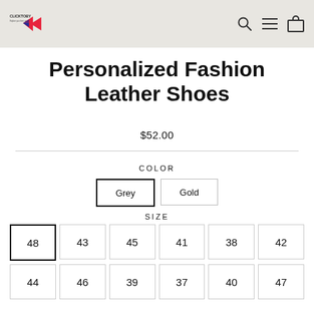ClickToBy — navigation header with logo, search, menu, and cart icons
Personalized Fashion Leather Shoes
$52.00
COLOR
Grey | Gold
SIZE
| Row 1 | Row 2 |
| --- | --- |
| 48 | 43 | 45 | 41 | 38 | 42 |
| 44 | 46 | 39 | 37 | 40 | 47 |